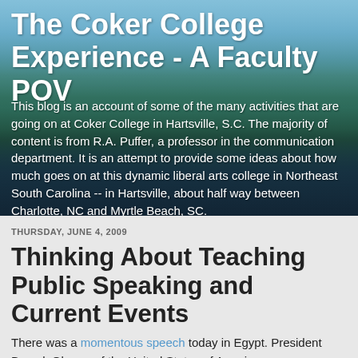The Coker College Experience - A Faculty POV
This blog is an account of some of the many activities that are going on at Coker College in Hartsville, S.C. The majority of content is from R.A. Puffer, a professor in the communication department. It is an attempt to provide some ideas about how much goes on at this dynamic liberal arts college in Northeast South Carolina -- in Hartsville, about half way between Charlotte, NC and Myrtle Beach, SC.
THURSDAY, JUNE 4, 2009
Thinking About Teaching Public Speaking and Current Events
There was a momentous speech today in Egypt. President Barack Obama of the United States of America...